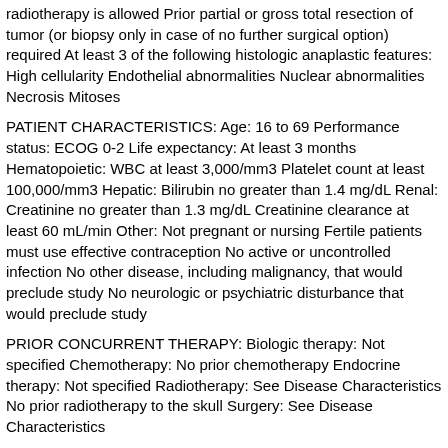radiotherapy is allowed Prior partial or gross total resection of tumor (or biopsy only in case of no further surgical option) required At least 3 of the following histologic anaplastic features: High cellularity Endothelial abnormalities Nuclear abnormalities Necrosis Mitoses
PATIENT CHARACTERISTICS: Age: 16 to 69 Performance status: ECOG 0-2 Life expectancy: At least 3 months Hematopoietic: WBC at least 3,000/mm3 Platelet count at least 100,000/mm3 Hepatic: Bilirubin no greater than 1.4 mg/dL Renal: Creatinine no greater than 1.3 mg/dL Creatinine clearance at least 60 mL/min Other: Not pregnant or nursing Fertile patients must use effective contraception No active or uncontrolled infection No other disease, including malignancy, that would preclude study No neurologic or psychiatric disturbance that would preclude study
PRIOR CONCURRENT THERAPY: Biologic therapy: Not specified Chemotherapy: No prior chemotherapy Endocrine therapy: Not specified Radiotherapy: See Disease Characteristics No prior radiotherapy to the skull Surgery: See Disease Characteristics